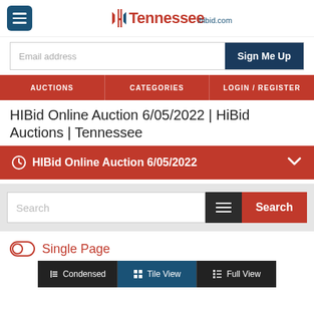Tennessee.hibid.com
Email address
Sign Me Up
AUCTIONS | CATEGORIES | LOGIN/REGISTER
HIBid Online Auction 6/05/2022 | HiBid Auctions | Tennessee
HIBid Online Auction 6/05/2022
Search
Single Page
Condensed | Tile View | Full View